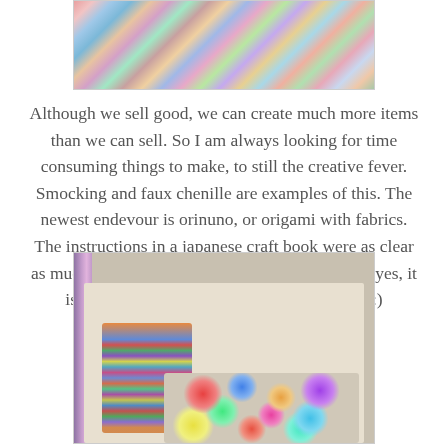[Figure (photo): Top portion of a photo showing colorful fabric pieces and floral textile items arranged together]
Although we sell good, we can create much more items than we can sell. So I am always looking for time consuming things to make, to still the creative fever. Smocking and faux chenille are examples of this. The newest endevour is orinuno, or origami with fabrics. The instructions in a japanese craft book were as clear as mud, so it took some time to figure it out, and yes, it is as time consuming as you could wish for :)
[Figure (photo): Photo of a worktable with stacks of colorful fabric pieces on the left, and many fabric origami (orinuno) flower shapes spread across the table surface]